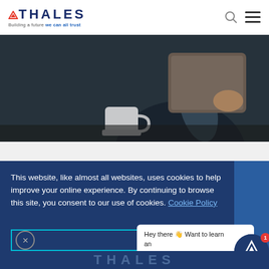THALES — Building a future we can all trust
[Figure (photo): Person in dark clothing holding a tablet computer, with a coffee cup on the table, dark blurred background]
This website, like almost all websites, uses cookies to help improve your online experience. By continuing to browse this site, you consent to our use of cookies. Cookie Policy
[Figure (screenshot): Chat widget with text: Hey there 👋 Want to learn an interesting security fact? with a circular chatbot icon and badge showing 1]
THALES